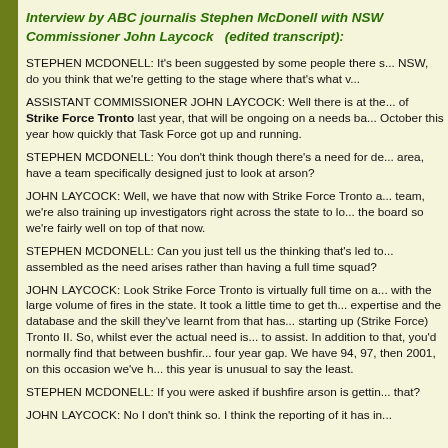Interview by ABC journalis Stephen McDonell with NSW Commissioner John Laycock   (edited transcript):
STEPHEN MCDONELL: It's been suggested by some people there s... NSW, do you think that we're getting to the stage where that's what v...
ASSISTANT COMMISSIONER JOHN LAYCOCK: Well there is at the... of Strike Force Tronto last year, that will be ongoing on a needs ba... October this year how quickly that Task Force got up and running.
STEPHEN MCDONELL: You don't think though there's a need for de... area, have a team specifically designed just to look at arson?
JOHN LAYCOCK: Well, we have that now with Strike Force Tronto a... team, we're also training up investigators right across the state to lo... the board so we're fairly well on top of that now.
STEPHEN MCDONELL: Can you just tell us the thinking that's led to... assembled as the need arises rather than having a full time squad?
JOHN LAYCOCK: Look Strike Force Tronto is virtually full time on a... with the large volume of fires in the state. It took a little time to get th... expertise and the database and the skill they've learnt from that has... starting up (Strike Force) Tronto II. So, whilst ever the actual need is... to assist. In addition to that, you'd normally find that between bushfir... four year gap. We have 94, 97, then 2001, on this occasion we've h... this year is unusual to say the least.
STEPHEN MCDONELL: If you were asked if bushfire arson is gettin... that?
JOHN LAYCOCK: No I don't think so. I think the reporting of it has in...